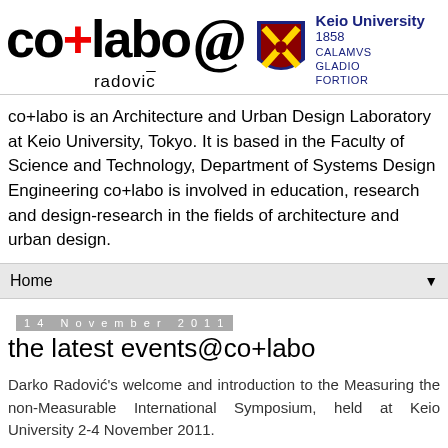[Figure (logo): co+labo @ radovic logo with Keio University shield and name, 1858, CALAMVS GLADIO FORTIOR]
co+labo is an Architecture and Urban Design Laboratory at Keio University, Tokyo. It is based in the Faculty of Science and Technology, Department of Systems Design Engineering co+labo is involved in education, research and design-research in the fields of architecture and urban design.
Home
14 November 2011
the latest events@co+labo
Darko Radović's welcome and introduction to the Measuring the non-Measurable International Symposium, held at Keio University 2-4 November 2011.
[Figure (photo): Black rectangle at bottom of page]